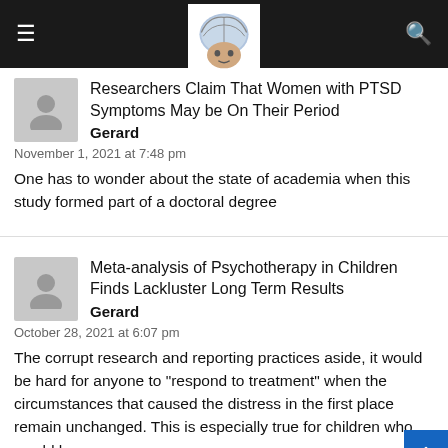Researchers Claim That Women with PTSD Symptoms May be On Their Period — Gerard — November 1, 2021 at 7:48 pm — One has to wonder about the state of academia when this study formed part of a doctoral degree
Researchers Claim That Women with PTSD Symptoms May be On Their Period
Gerard
November 1, 2021 at 7:48 pm
One has to wonder about the state of academia when this study formed part of a doctoral degree
Meta-analysis of Psychotherapy in Children Finds Lackluster Long Term Results
Gerard
October 28, 2021 at 6:07 pm
The corrupt research and reporting practices aside, it would be hard for anyone to "respond to treatment" when the circumstances that caused the distress in the first place remain unchanged. This is especially true for children who would have